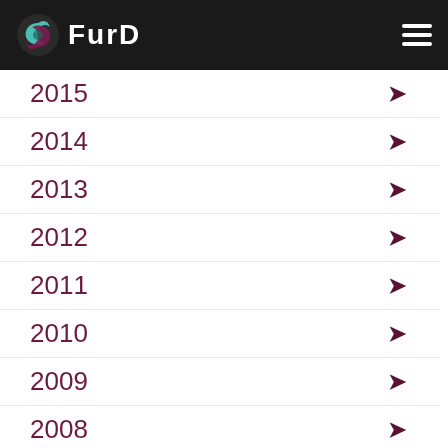FURD
2015
2014
2013
2012
2011
2010
2009
2008
2007
2006
2005
2004